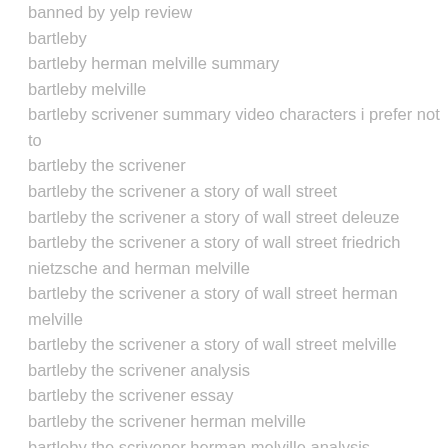banned by yelp review
bartleby
bartleby herman melville summary
bartleby melville
bartleby scrivener summary video characters i prefer not to
bartleby the scrivener
bartleby the scrivener a story of wall street
bartleby the scrivener a story of wall street deleuze
bartleby the scrivener a story of wall street friedrich nietzsche and herman melville
bartleby the scrivener a story of wall street herman melville
bartleby the scrivener a story of wall street melville
bartleby the scrivener analysis
bartleby the scrivener essay
bartleby the scrivener herman melville
bartleby the scrivener herman melville analysis
bartleby the scrivener herman melville commentary
bartleby the scrivener herman melville criticism